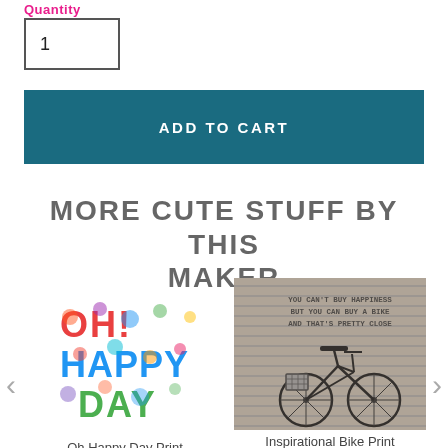Quantity
1
ADD TO CART
MORE CUTE STUFF BY THIS MAKER
[Figure (illustration): Oh Happy Day colorful typographic print with rainbow colored lettering]
Oh Happy Day Print
[Figure (photo): Black and white photo of a bicycle leaning against a wall with text 'You can't buy happiness but you can buy a bike and that's pretty close']
Inspirational Bike Print